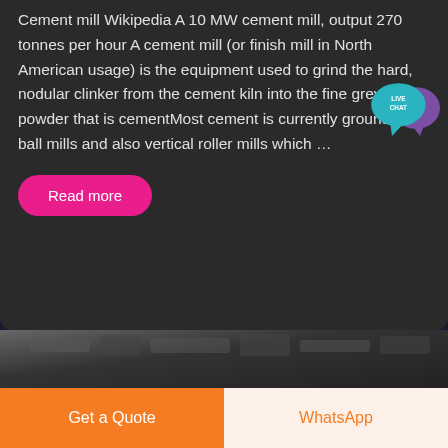Cement mill Wikipedia A 10 MW cement mill, output 270 tonnes per hour A cement mill (or finish mill in North American usage) is the equipment used to grind the hard, nodular clinker from the cement kiln into the fine grey powder that is cementMost cement is currently ground in ball mills and also vertical roller mills which …
[Figure (other): Live chat speech bubble icon with teal/purple colors and text LIVE CHAT]
Read more
[Figure (photo): Dark industrial/machinery photo strip partially visible]
Get a Quote
WhatsApp